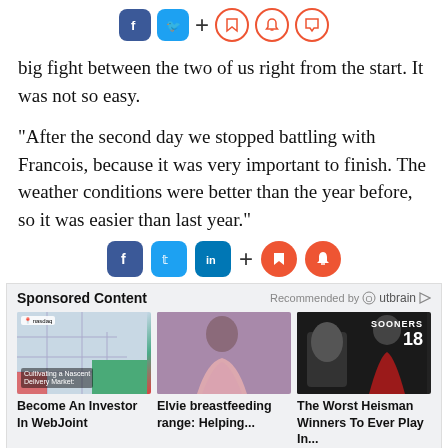[Figure (other): Social sharing icons row: Facebook (blue), Twitter (cyan), plus sign, bookmark (red outline), bell (red outline), chat bubble (red outline)]
big fight between the two of us right from the start. It was not so easy.
"After the second day we stopped battling with Francois, because it was very important to finish. The weather conditions were better than the year before, so it was easier than last year."
[Figure (other): Social sharing icons row: Facebook (blue), Twitter (cyan), LinkedIn (blue), plus sign, bookmark (red filled), bell (red filled)]
[Figure (infographic): Sponsored Content section with Outbrain recommendation label, three ad images: map/delivery market ad, woman photo (Elvie breastfeeding), football player in Sooners jersey #18]
Become An Investor In WebJoint
Elvie breastfeeding range: Helping...
The Worst Heisman Winners To Ever Play In...